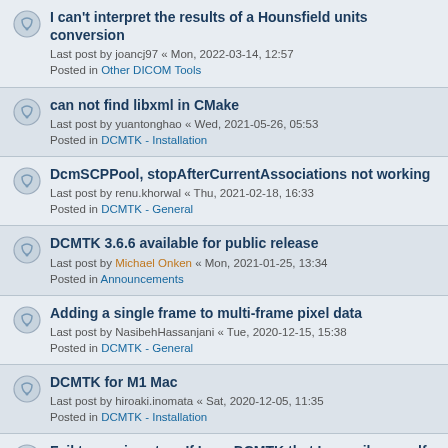I can't interpret the results of a Hounsfield units conversion
Last post by joancj97 « Mon, 2022-03-14, 12:57
Posted in Other DICOM Tools
can not find libxml in CMake
Last post by yuantonghao « Wed, 2021-05-26, 05:53
Posted in DCMTK - Installation
DcmSCPPool, stopAfterCurrentAssociations not working
Last post by renu.khorwal « Thu, 2021-02-18, 16:33
Posted in DCMTK - General
DCMTK 3.6.6 available for public release
Last post by Michael Onken « Mon, 2021-01-25, 13:34
Posted in Announcements
Adding a single frame to multi-frame pixel data
Last post by NasibehHassanjani « Tue, 2020-12-15, 15:38
Posted in DCMTK - General
DCMTK for M1 Mac
Last post by hiroaki.inomata « Sat, 2020-12-05, 11:35
Posted in DCMTK - Installation
Fail to receive store If I use DCMTK that I compile myself
Last post by tiagostein « Wed, 2020-10-21, 17:19
Posted in DCMTK - General
DICOMconnect: The IEC 62304-Certified DCMTK wrapper
Last post by Markus Sabin « Thu, 2020-09-24, 10:19
Posted in Third-Party DCMTK Applications
Dcmtk Static Lib Logger Not working on own Developers Plugin(DLL)
Last post by Chinna Durai « Tue, 2020-08-11, 06:58
Posted in DCMTK - General
Problems setting up a TLS connection using self-issued certificates
Last post by ptpa « Mon, 2020-06-15, 08:15